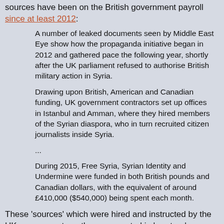sources have been on the British government payroll since at least 2012:
A number of leaked documents seen by Middle East Eye show how the propaganda initiative began in 2012 and gathered pace the following year, shortly after the UK parliament refused to authorise British military action in Syria.
Drawing upon British, American and Canadian funding, UK government contractors set up offices in Istanbul and Amman, where they hired members of the Syrian diaspora, who in turn recruited citizen journalists inside Syria.
... During 2015, Free Syria, Syrian Identity and Undermine were funded in both British pounds and Canadian dollars, with the equivalent of around £410,000 ($540,000) being spent each month.
These 'sources' which were hired and instructed by the UK government are the ones quoted in 'western' papers. The whole scheme, like the British organized 'White Helmets', was run by military intelligence officers: